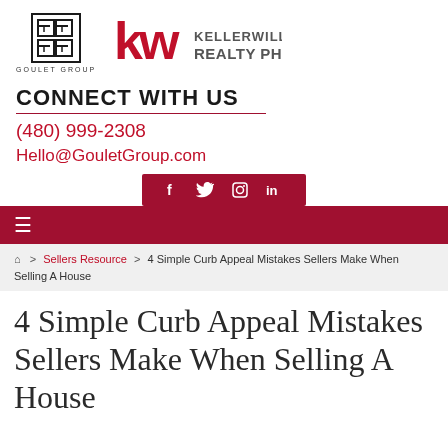[Figure (logo): Goulet Group logo (stylized G letters stacked) and Keller Williams Realty Phoenix logo side by side]
CONNECT WITH US
(480) 999-2308
Hello@GouletGroup.com
[Figure (other): Social media icons bar: Facebook, Twitter, Instagram, LinkedIn on dark red background]
[Figure (other): Dark red navigation bar with hamburger menu icon]
Home > Sellers Resource > 4 Simple Curb Appeal Mistakes Sellers Make When Selling A House
4 Simple Curb Appeal Mistakes Sellers Make When Selling A House